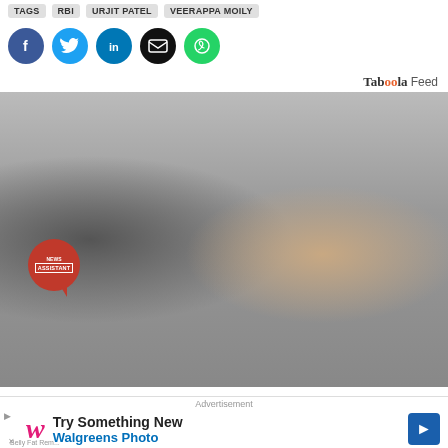TAGS  RBI  Urjit Patel  Veerappa Moily
[Figure (infographic): Social sharing buttons: Facebook (blue), Twitter (cyan), LinkedIn (blue), Email (black), WhatsApp (green) — all circular]
Taboola Feed
[Figure (photo): Woman smiling while lying on a treatment table with medical/cosmetic device tubes attached around her torso. News Assistant badge visible in lower left corner.]
Belly Fat Removal Without Surgery in Ashburn: The Price Might Surprise You
Advertisement
[Figure (infographic): Walgreens Photo advertisement banner: 'Try Something New / Walgreens Photo' with Walgreens W logo and blue arrow button]